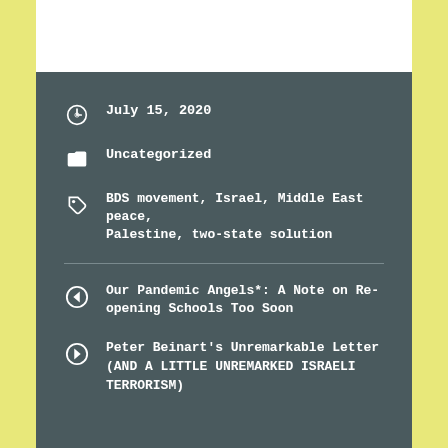July 15, 2020
Uncategorized
BDS movement, Israel, Middle East peace, Palestine, two-state solution
Our Pandemic Angels*: A Note on Re-opening Schools Too Soon
Peter Beinart's Unremarkable Letter (AND A LITTLE UNREMARKED ISRAELI TERRORISM)
One thought on “A Rebuttal to Peter Beinart’s recent article “I No Longer Believe in a